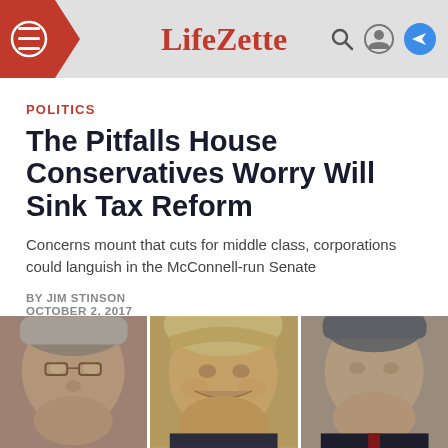LifeZette
POLITICS
The Pitfalls House Conservatives Worry Will Sink Tax Reform
Concerns mount that cuts for middle class, corporations could languish in the McConnell-run Senate
BY JIM STINSON
OCTOBER 2, 2017
[Figure (photo): Three side-by-side photos of political figures: Mitch McConnell, Donald Trump, and Bill Cassidy or similar Republican politician]